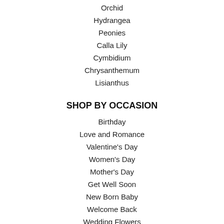Orchid
Hydrangea
Peonies
Calla Lily
Cymbidium
Chrysanthemum
Lisianthus
SHOP BY OCCASION
Birthday
Love and Romance
Valentine's Day
Women's Day
Mother's Day
Get Well Soon
New Born Baby
Welcome Back
Wedding Flowers